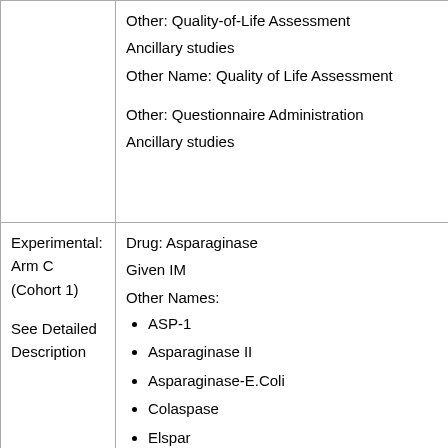|  | Other: Quality-of-Life Assessment
Ancillary studies
Other Name: Quality of Life Assessment

Other: Questionnaire Administration
Ancillary studies |
| Experimental: Arm C (Cohort 1)
See Detailed Description | Drug: Asparaginase
Given IM
Other Names:
• ASP-1
• Asparaginase II
• Asparaginase-E.Coli
• Colaspase
• Elspar
• Kidrolase
• L-Asnase |